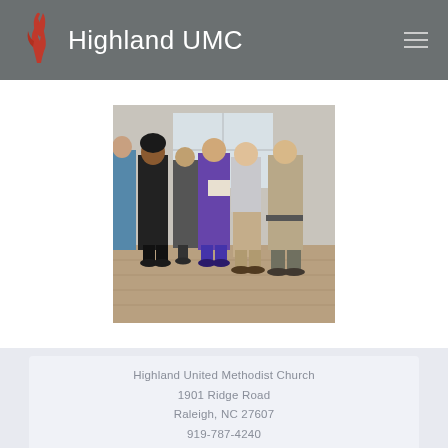Highland UMC
[Figure (photo): Group of people standing indoors in a room with wood flooring, appearing to review documents or have a discussion. Several individuals of various ages are present.]
Highland United Methodist Church
1901 Ridge Road
Raleigh, NC 27607
919-787-4240

Office Hours:
Monday - Friday 8 AM - 12 PM